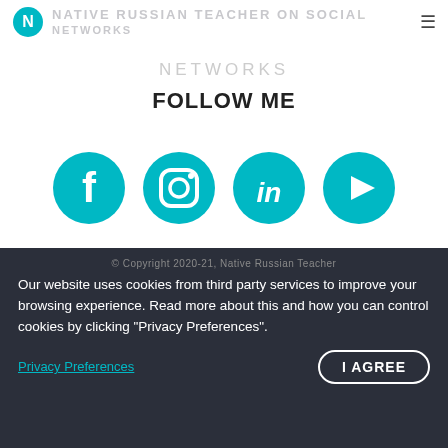NATIVE RUSSIAN TEACHER ON SOCIAL NETWORKS
NETWORKS
FOLLOW ME
[Figure (illustration): Four teal circular social media icons: Facebook (f), Instagram (camera/square), LinkedIn (in), YouTube (play button)]
© Copyright 2020-21, Native Russian Teacher
Our website uses cookies from third party services to improve your browsing experience. Read more about this and how you can control cookies by clicking "Privacy Preferences".
Privacy Preferences
I AGREE